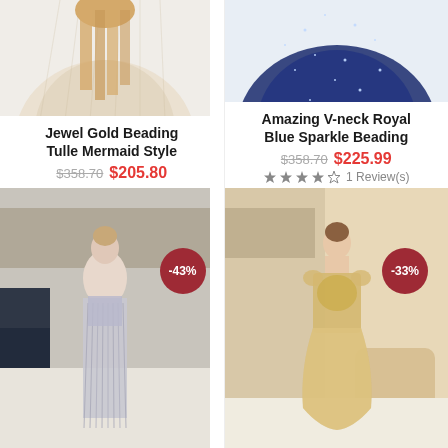[Figure (photo): Top portion of a mermaid style dress with blonde hair visible, light tulle fabric]
Jewel Gold Beading Tulle Mermaid Style
$358.70  $205.80
[Figure (photo): Bottom portion of a royal blue sparkle beading dress with navy tulle]
Amazing V-neck Royal Blue Sparkle Beading
$358.70  $225.99
1 Review(s)
[Figure (photo): Woman wearing silver/grey beaded fringe mermaid gown in a boutique setting, -43% badge]
[Figure (photo): Woman wearing champagne/gold beaded mermaid gown in a boutique setting, -33% badge]